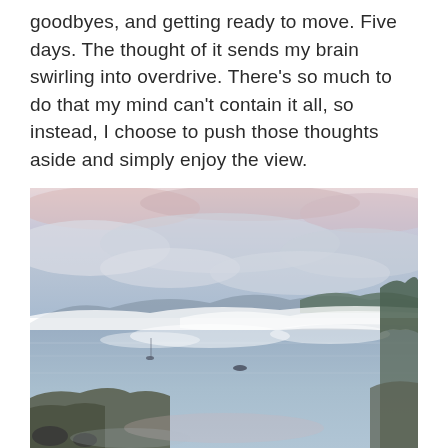goodbyes, and getting ready to move. Five days. The thought of it sends my brain swirling into overdrive. There's so much to do that my mind can't contain it all, so instead, I choose to push those thoughts aside and simply enjoy the view.
[Figure (photo): A serene misty waterway or bay at dawn or dusk, with low fog over calm water, forested hills in the distance, pastel pink and grey sky with clouds, and rocky shoreline in the foreground.]